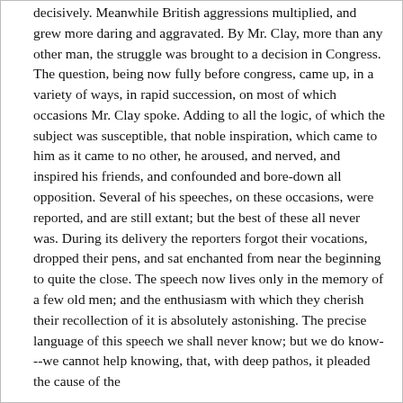decisively. Meanwhile British aggressions multiplied, and grew more daring and aggravated. By Mr. Clay, more than any other man, the struggle was brought to a decision in Congress. The question, being now fully before congress, came up, in a variety of ways, in rapid succession, on most of which occasions Mr. Clay spoke. Adding to all the logic, of which the subject was susceptible, that noble inspiration, which came to him as it came to no other, he aroused, and nerved, and inspired his friends, and confounded and bore-down all opposition. Several of his speeches, on these occasions, were reported, and are still extant; but the best of these all never was. During its delivery the reporters forgot their vocations, dropped their pens, and sat enchanted from near the beginning to quite the close. The speech now lives only in the memory of a few old men; and the enthusiasm with which they cherish their recollection of it is absolutely astonishing. The precise language of this speech we shall never know; but we do know---we cannot help knowing, that, with deep pathos, it pleaded the cause of the